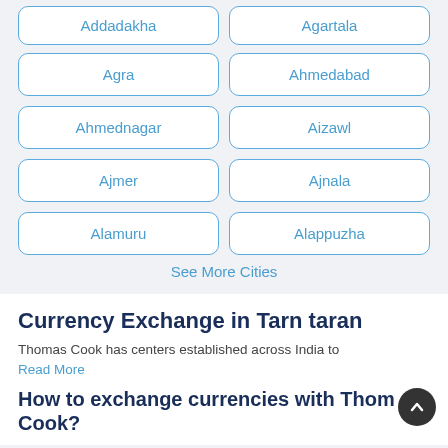Addadakha
Agartala
Agra
Ahmedabad
Ahmednagar
Aizawl
Ajmer
Ajnala
Alamuru
Alappuzha
See More Cities
Currency Exchange in Tarn taran
Thomas Cook has centers established across India to
Read More
How to exchange currencies with Thomas Cook?